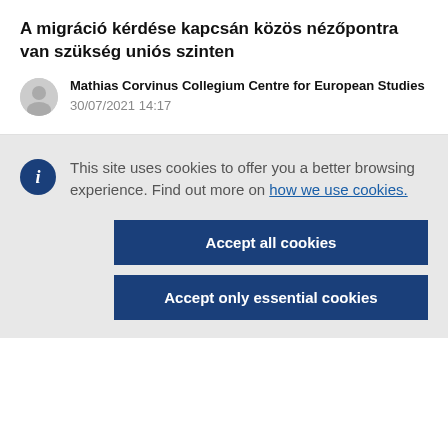A migráció kérdése kapcsán közös nézőpontra van szükség uniós szinten
Mathias Corvinus Collegium Centre for European Studies
30/07/2021 14:17
This site uses cookies to offer you a better browsing experience. Find out more on how we use cookies.
Accept all cookies
Accept only essential cookies